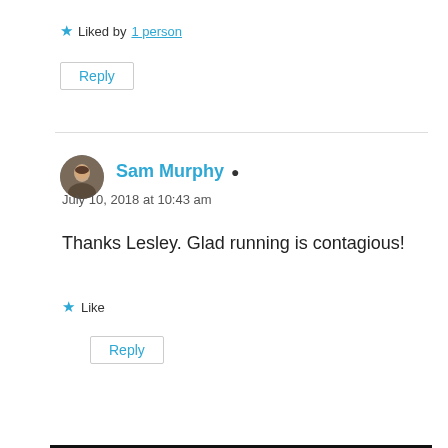★ Liked by 1 person
Reply
Sam Murphy
July 10, 2018 at 10:43 am
Thanks Lesley. Glad running is contagious!
★ Like
Reply